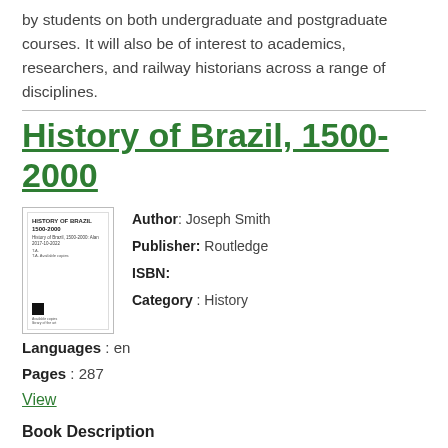by students on both undergraduate and postgraduate courses. It will also be of interest to academics, researchers, and railway historians across a range of disciplines.
History of Brazil, 1500-2000
[Figure (photo): Book cover thumbnail for History of Brazil 1500-2000]
Author: Joseph Smith
Publisher: Routledge
ISBN:
Category: History
Languages : en
Pages : 287
View
Book Description